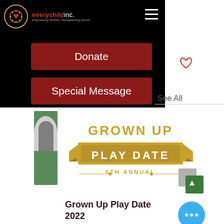[Figure (logo): everychildinc. logo with tagline 'Empowering families. Strengthening futures.' on black background]
Donate
Special Message
See All
[Figure (illustration): Grown Up Play Date 5th Annual event banner with gold ribbon design and child reading photo thumbnail]
Grown Up Play Date 2022